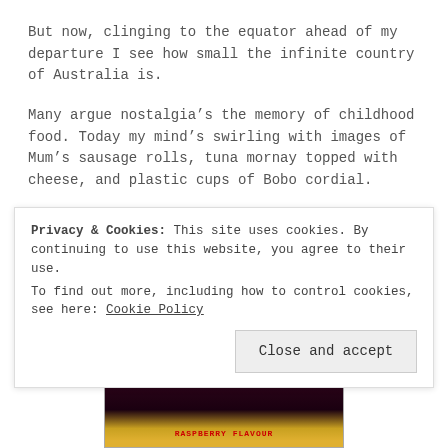But now, clinging to the equator ahead of my departure I see how small the infinite country of Australia is.
Many argue nostalgia’s the memory of childhood food. Today my mind’s swirling with images of Mum’s sausage rolls, tuna mornay topped with cheese, and plastic cups of Bobo cordial.
It’s time to go home.
[Figure (photo): Photo of a dark cordial bottle with white cap, showing deep red/purple liquid, partially cut off at bottom where a label showing RASPBERRY FLAVOUR is visible]
Privacy & Cookies: This site uses cookies. By continuing to use this website, you agree to their use.
To find out more, including how to control cookies, see here: Cookie Policy
Close and accept